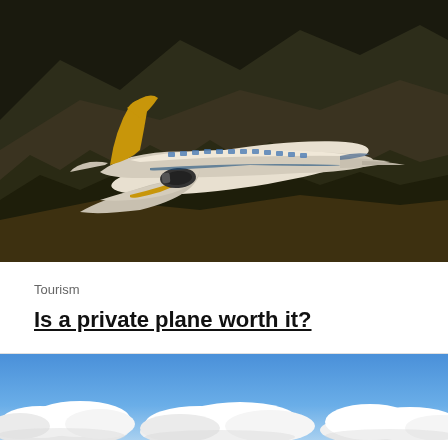[Figure (photo): A white and gold private jet aircraft flying over a dark forested mountainous landscape at golden hour.]
Tourism
Is a private plane worth it?
[Figure (photo): Blue sky with fluffy white clouds viewed from above, partial view at bottom of page.]